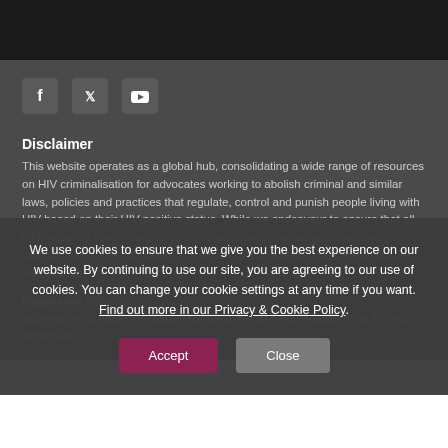[Figure (other): Dark top navigation bar]
[Figure (other): Social media icons: Facebook, Twitter, YouTube on dark grey footer background]
Disclaimer
This website operates as a global hub, consolidating a wide range of resources on HIV criminalisation for advocates working to abolish criminal and similar laws, policies and practices that regulate, control and punish people living with HIV based on their HIV-positive status. While we endeavour to ensure that all information is correct and up-to-date, we cannot guarantee the accuracy of laws or cases. The information contained on this website does not constitute legal advice.
Registered office:
Stichting HIV Justice (HIV Justice Network), Eerste Helmersstraat 17 B 3, 1054 CX Amsterdam
We use cookies to ensure that we give you the best experience on our website. By continuing to use our site, you are agreeing to our use of cookies. You can change your cookie settings at any time if you want. Find out more in our Privacy & Cookie Policy.